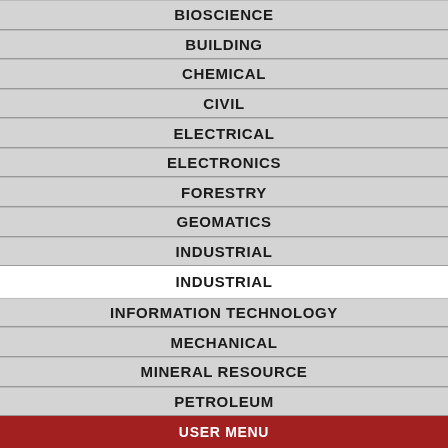BIOSCIENCE
BUILDING
CHEMICAL
CIVIL
ELECTRICAL
ELECTRONICS
FORESTRY
GEOMATICS
INDUSTRIAL
INDUSTRIAL
INFORMATION TECHNOLOGY
MECHANICAL
MINERAL RESOURCE
PETROLEUM
USER MENU